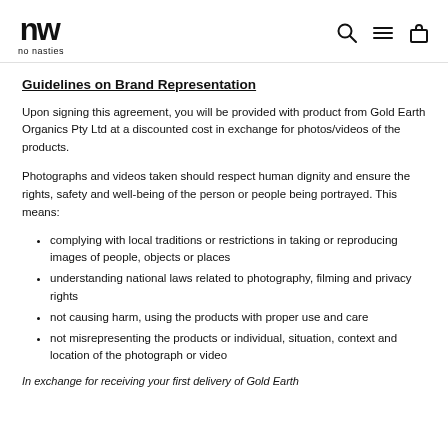no nasties logo and navigation icons
Guidelines on Brand Representation
Upon signing this agreement, you will be provided with product from Gold Earth Organics Pty Ltd at a discounted cost in exchange for photos/videos of the products.
Photographs and videos taken should respect human dignity and ensure the rights, safety and well-being of the person or people being portrayed. This means:
complying with local traditions or restrictions in taking or reproducing images of people, objects or places
understanding national laws related to photography, filming and privacy rights
not causing harm, using the products with proper use and care
not misrepresenting the products or individual, situation, context and location of the photograph or video
In exchange for receiving your first delivery of Gold Earth